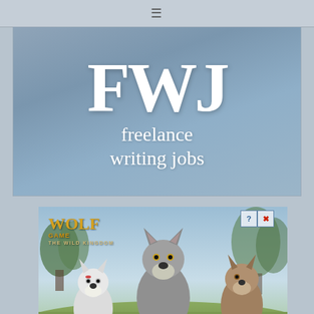≡
FWJ freelance writing jobs
[Figure (illustration): Wolf Game: The Wild Kingdom advertisement showing three wolves (white, grey, and brown) standing in a field with yellow flowers and trees in the background. Wolf Game logo in gold text top-left, with close/info buttons top-right.]